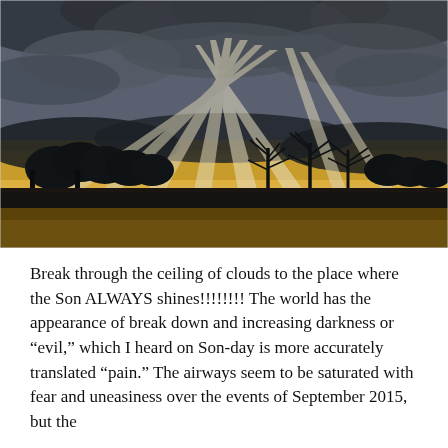[Figure (photo): Dramatic landscape photograph showing sunbeams breaking through a dark cloudy sky over a silhouetted treeline and fields, with a golden yellow glow near the horizon.]
Break through the ceiling of clouds to the place where the Son ALWAYS shines!!!!!!!! The world has the appearance of break down and increasing darkness or “evil,” which I heard on Son-day is more accurately translated “pain.” The airways seem to be saturated with fear and uneasiness over the events of September 2015, but the